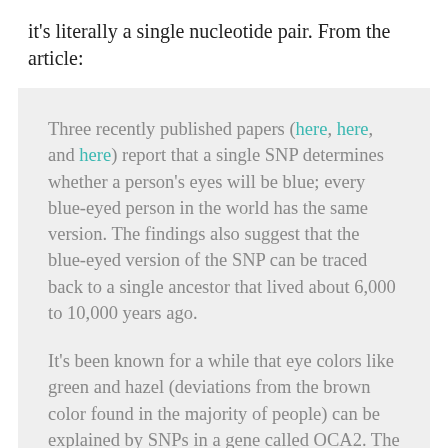it's literally a single nucleotide pair.  From the article:
Three recently published papers (here, here, and here) report that a single SNP determines whether a person's eyes will be blue; every blue-eyed person in the world has the same version. The findings also suggest that the blue-eyed version of the SNP can be traced back to a single ancestor that lived about 6,000 to 10,000 years ago.

It's been known for a while that eye colors like green and hazel (deviations from the brown color found in the majority of people) can be explained by SNPs in a gene called OCA2. The protein made by this gene is involved in the production of melanin, a